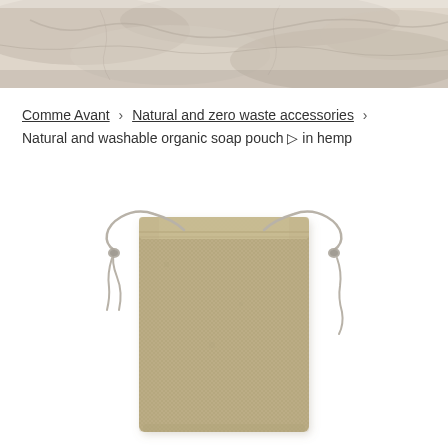[Figure (photo): Top banner photo of sandy/rocky stone surface in beige and brown tones]
Comme Avant › Natural and zero waste accessories › Natural and washable organic soap pouch ▷ in hemp
[Figure (photo): A natural hemp drawstring pouch/bag with a woven texture in beige/khaki color, with grey drawstring cords and knotted ends, on a white background]